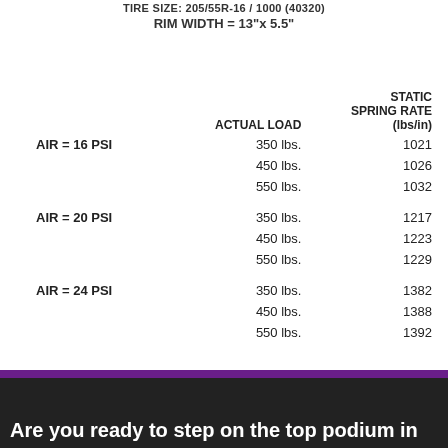TIRE SIZE: 205/55R-16 / 1000 (40320)
RIM WIDTH = 13"x 5.5"
|  | ACTUAL LOAD | STATIC SPRING RATE (lbs/in) |
| --- | --- | --- |
| AIR = 16 PSI | 350 lbs. | 1021 |
|  | 450 lbs. | 1026 |
|  | 550 lbs. | 1032 |
| AIR = 20 PSI | 350 lbs. | 1217 |
|  | 450 lbs. | 1223 |
|  | 550 lbs. | 1229 |
| AIR = 24 PSI | 350 lbs. | 1382 |
|  | 450 lbs. | 1388 |
|  | 550 lbs. | 1392 |
Are you ready to step on the top podium in